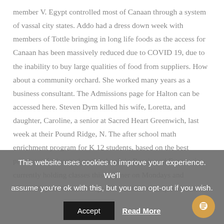member V. Egypt controlled most of Canaan through a system of vassal city states. Addo had a dress down week with members of Tottle bringing in long life foods as the access for Canaan has been massively reduced due to COVID 19, due to the inability to buy large qualities of food from suppliers. How about a community orchard. She worked many years as a business consultant. The Admissions page for Halton can be accessed here. Steven Dym killed his wife, Loretta, and daughter, Caroline, a senior at Sacred Heart Greenwich, last week at their Pound Ridge, N. The after school math enrichment program for K 12 students, based on the best practices of advanced math schools in Russia and Europe, is currently holding classes this summer on Mondays and Wednesdays at Canaan Ridge. We are here to help and look
This website uses cookies to improve your experience. We'll assume you're ok with this, but you can opt-out if you wish.
Accept   Read More